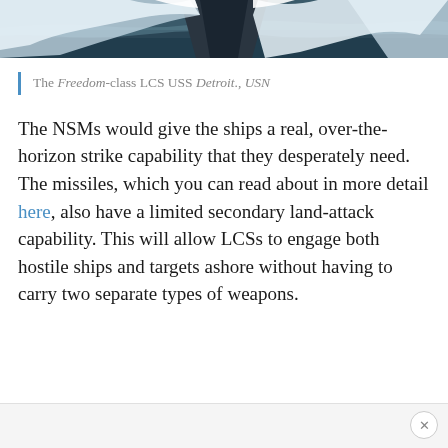[Figure (photo): Top portion of a naval vessel (Freedom-class LCS) cutting through waves, viewed from the bow, with white spray and dark ocean water]
The Freedom-class LCS USS Detroit., USN
The NSMs would give the ships a real, over-the-horizon strike capability that they desperately need. The missiles, which you can read about in more detail here, also have a limited secondary land-attack capability. This will allow LCSs to engage both hostile ships and targets ashore without having to carry two separate types of weapons.